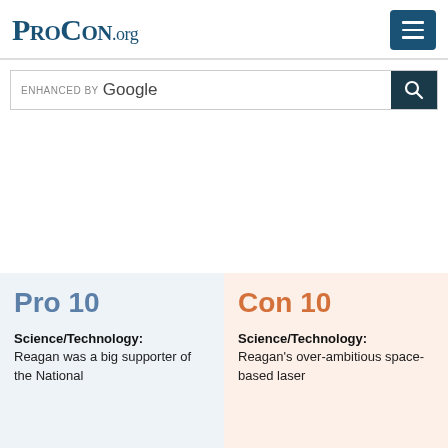ProCon.org
[Figure (screenshot): Search bar with 'ENHANCED BY Google' text and a search icon button]
Pro 10
Con 10
Science/Technology: Reagan was a big supporter of the National
Science/Technology: Reagan's over-ambitious space-based laser